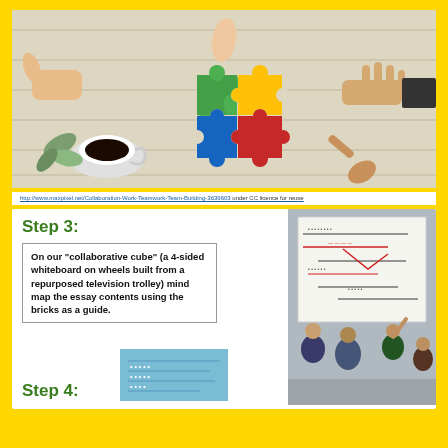[Figure (photo): Hands from four people assembling a four-piece jigsaw puzzle with green, yellow, blue and red pieces on a wooden surface, with a coffee cup and plant in the background.]
http://www.maxpixel.net/Collaboration-Work-Teamwork-Team-Building-3639603 under CC licence for reuse
Step 3:
On our “collaborative cube” (a 4-sided whiteboard on wheels built from a repurposed television trolley) mind map the essay contents using the bricks as a guide.
[Figure (photo): Students and instructor gathered around a large whiteboard with diagrams and notes written in marker.]
Step 4:
[Figure (photo): A teal/blue sticky note or card with handwritten text.]